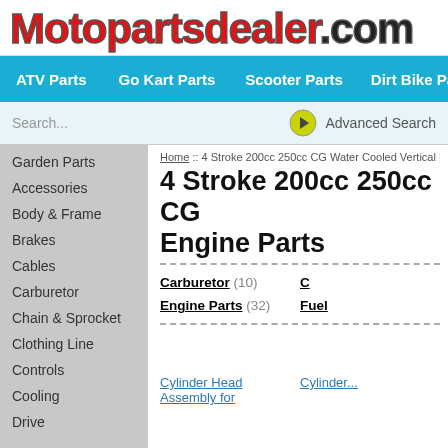[Figure (logo): Motopartsdealer.com logo in red and black with bold text]
ATV Parts  Go Kart Parts  Scooter Parts  Dirt Bike Parts  Po...
Search...   Advanced Search
Home :: 4 Stroke 200cc 250cc CG Water Cooled Vertical En...
4 Stroke 200cc 250cc CG Engine Parts
Garden Parts
Accessories
Body & Frame
Brakes
Cables
Carburetor
Chain & Sprocket
Clothing Line
Controls
Cooling
Drive
Carburetor (10)
Engine Parts (32)
Cylinder Head Assembly for
Cylinder...